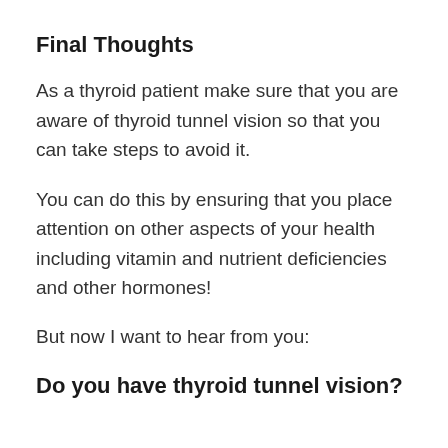Final Thoughts
As a thyroid patient make sure that you are aware of thyroid tunnel vision so that you can take steps to avoid it.
You can do this by ensuring that you place attention on other aspects of your health including vitamin and nutrient deficiencies and other hormones!
But now I want to hear from you:
Do you have thyroid tunnel vision?